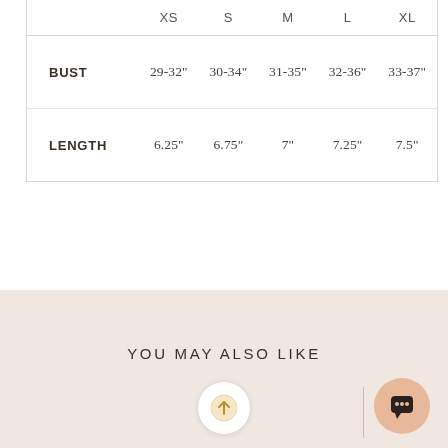|  | XS | S | M | L | XL |
| --- | --- | --- | --- | --- | --- |
| BUST | 29-32" | 30-34" | 31-35" | 32-36" | 33-37" |
| LENGTH | 6.25" | 6.75" | 7" | 7.25" | 7.5" |
YOU MAY ALSO LIKE